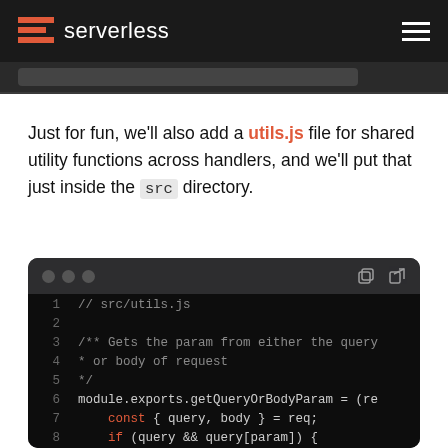serverless
[Figure (screenshot): Browser address bar / partial UI element showing a dark bar]
Just for fun, we'll also add a utils.js file for shared utility functions across handlers, and we'll put that just inside the src directory.
[Figure (screenshot): Code editor dark window showing src/utils.js code with lines 1-8 visible. Line 1: // src/utils.js, Line 3: /** Gets the param from either the query, Line 4:  * or body of request, Line 5:  */, Line 6: module.exports.getQueryOrBodyParam = (re, Line 7:     const { query, body } = req;, Line 8:     if (query && query[param]) {]